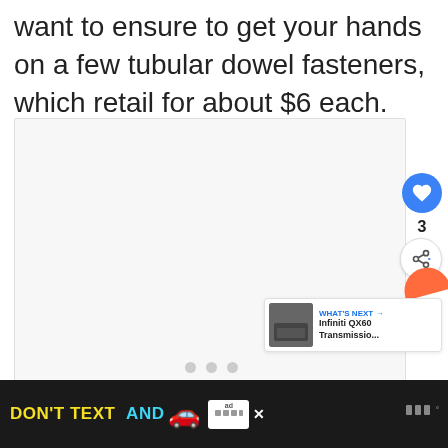want to ensure to get your hands on a few tubular dowel fasteners, which retail for about $6 each.
[Figure (photo): Image slideshow area with three dot navigation indicators, a heart/like button showing count of 3, a share button, an orange decorative half-circle, and a 'WHAT'S NEXT' panel showing 'Infiniti QX60 Transmissio...']
[Figure (infographic): Advertisement banner with black background showing 'DON'T TEXT AND' in yellow and cyan text with a red car emoji, an 'ad' badge with NHTSA branding, and a close button]